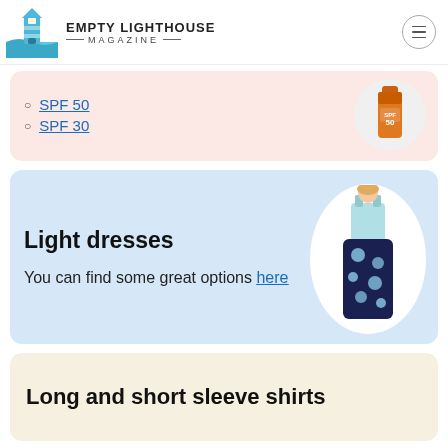EMPTY LIGHTHOUSE MAGAZINE
SPF 50
SPF 30
[Figure (photo): Orange sunscreen bottle product photo]
Light dresses
You can find some great options here
[Figure (photo): Woman wearing a floral maxi dress with light blue top and dark navy floral skirt]
Long and short sleeve shirts
Short pants or
[Figure (photo): Person wearing black pants, partial view]